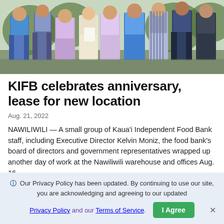[Figure (photo): Group photo of Kaua'i Independent Food Bank staff, board members, and government representatives standing outdoors at the Nawiliwili warehouse location.]
KIFB celebrates anniversary, lease for new location
Aug. 21, 2022
NAWILIWILI — A small group of Kaua'i Independent Food Bank staff, including Executive Director Kelvin Moniz, the food bank's board of directors and government representatives wrapped up another day of work at the Nawiliwili warehouse and offices Aug. 16.
Read More
Our Privacy Policy has been updated. By continuing to use our site, you are acknowledging and agreeing to our updated Privacy Policy and our Terms of Service.